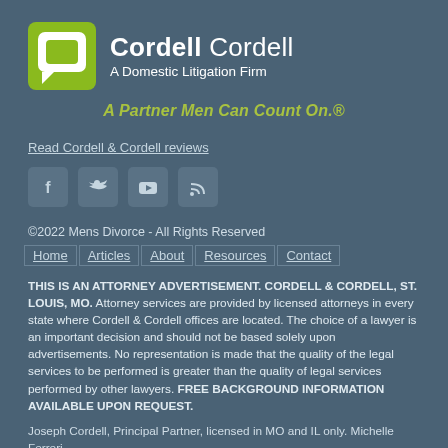[Figure (logo): Cordell & Cordell logo: olive/green square icon with chat bubble cutout, white text 'Cordell Cordell' and subtitle 'A Domestic Litigation Firm']
A Partner Men Can Count On.®
Read Cordell & Cordell reviews
[Figure (infographic): Social media icons: Facebook, Twitter, YouTube, RSS feed]
©2022 Mens Divorce - All Rights Reserved
Home | Articles | About | Resources | Contact
THIS IS AN ATTORNEY ADVERTISEMENT. CORDELL & CORDELL, ST. LOUIS, MO. Attorney services are provided by licensed attorneys in every state where Cordell & Cordell offices are located. The choice of a lawyer is an important decision and should not be based solely upon advertisements. No representation is made that the quality of the legal services to be performed is greater than the quality of legal services performed by other lawyers. FREE BACKGROUND INFORMATION AVAILABLE UPON REQUEST.
Joseph Cordell, Principal Partner, licensed in MO and IL only. Michelle Ferreri...